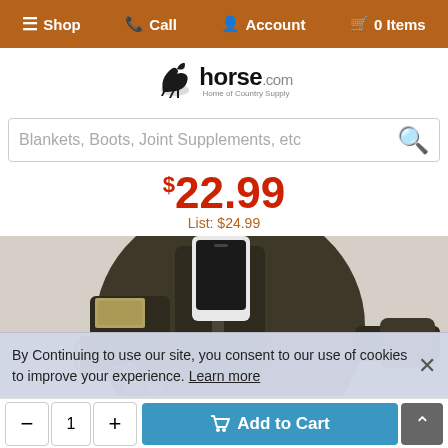Shop  Call  Account  0 Items
[Figure (logo): horse.com Home of Country Supply logo with horse silhouette]
Blankets, Boots, Joint Supplements, etc
$22.99
List: $24.99
[Figure (photo): Dark brown/olive arm band holder bag with phone, cash, and keys in pockets, with velcro strap]
By Continuing to use our site, you consent to our use of cookies to improve your experience. Learn more
- 1 + Add to Cart ^